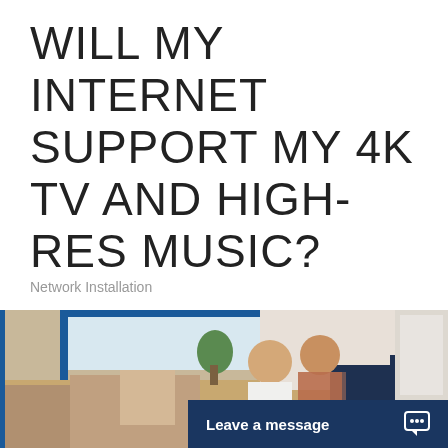WILL MY INTERNET SUPPORT MY 4K TV AND HIGH-RES MUSIC?
Network Installation
[Figure (photo): A couple sitting on a sofa looking at a laptop together in a bright living room.]
Leave a message